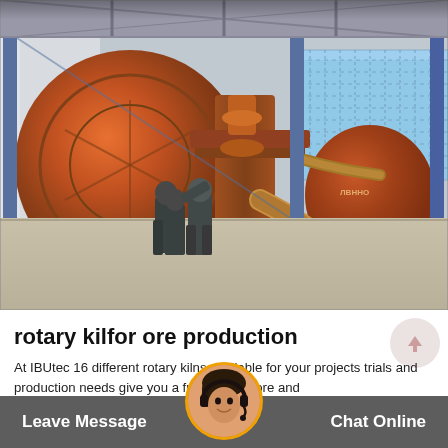[Figure (photo): Industrial facility interior showing large orange rotary kiln drums with workers and mechanical equipment including hoses and pipes, under a steel roof structure]
rotary kilfor ore production
At IBUtec 16 different rotary kilns available for your projects trials and production needs give you a full range of ore and
Leave Message    Chat Online